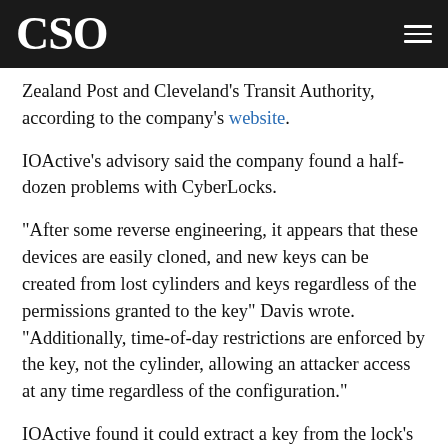CSO
Zealand Post and Cleveland's Transit Authority, according to the company's website.
IOActive's advisory said the company found a half-dozen problems with CyberLocks.
"After some reverse engineering, it appears that these devices are easily cloned, and new keys can be created from lost cylinders and keys regardless of the permissions granted to the key" Davis wrote. "Additionally, time-of-day restrictions are enforced by the key, not the cylinder, allowing an attacker access at any time regardless of the configuration."
IOActive found it could extract a key from the lock's firmware and create a cloned key by intercepting communications between a previously authorized key and a lock. The key is